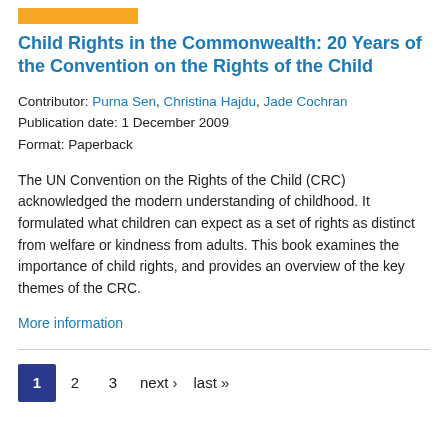Child Rights in the Commonwealth: 20 Years of the Convention on the Rights of the Child
Contributor: Purna Sen, Christina Hajdu, Jade Cochran
Publication date: 1 December 2009
Format: Paperback
The UN Convention on the Rights of the Child (CRC) acknowledged the modern understanding of childhood. It formulated what children can expect as a set of rights as distinct from welfare or kindness from adults. This book examines the importance of child rights, and provides an overview of the key themes of the CRC.
More information
1 2 3 next › last »